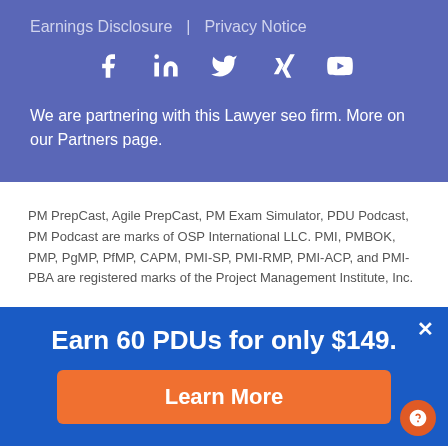Earnings Disclosure | Privacy Notice
[Figure (illustration): Social media icons: Facebook, LinkedIn, Twitter, Xing, YouTube — white icons on blue background]
We are partnering with this Lawyer seo firm. More on our Partners page.
PM PrepCast, Agile PrepCast, PM Exam Simulator, PDU Podcast, PM Podcast are marks of OSP International LLC. PMI, PMBOK, PMP, PgMP, PfMP, CAPM, PMI-SP, PMI-RMP, PMI-ACP, and PMI-PBA are registered marks of the Project Management Institute, Inc.
Earn 60 PDUs for only $149.
Learn More